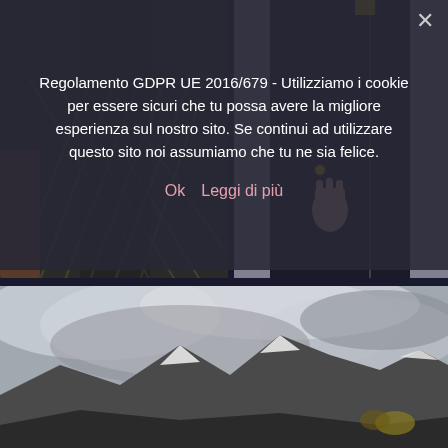[Figure (photo): Fashion photo showing two models from waist down. Left model in black sequined chevron-patterned dress with sheer overlay. Right model in black outfit with hand visible and gold accent detail.]
Regolamento GDPR UE 2016/679 - Utilizziamo i cookie per essere sicuri che tu possa avere la migliore esperienza sul nostro sito. Se continui ad utilizzare questo sito noi assumiamo che tu ne sia felice.
Ok   Leggi di più
[Figure (photo): Landscape photo showing dramatic cloudy sky over snow-capped mountains with rocky terrain in the foreground.]